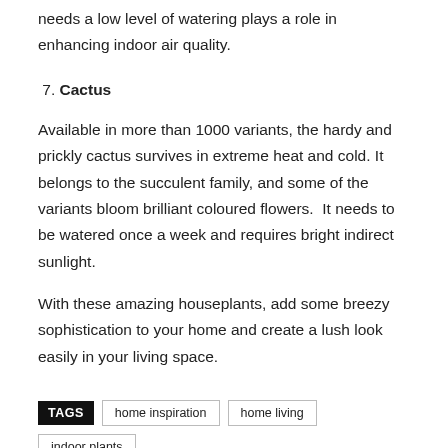needs a low level of watering plays a role in enhancing indoor air quality.
7. Cactus
Available in more than 1000 variants, the hardy and prickly cactus survives in extreme heat and cold. It belongs to the succulent family, and some of the variants bloom brilliant coloured flowers.  It needs to be watered once a week and requires bright indirect sunlight.
With these amazing houseplants, add some breezy sophistication to your home and create a lush look easily in your living space.
TAGS  home inspiration  home living  indoor plants